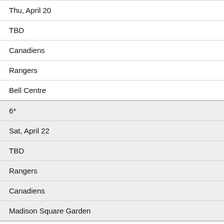| Thu, April 20 |
| TBD |
| Canadiens |
| Rangers |
| Bell Centre |
| 6* |
| Sat, April 22 |
| TBD |
| Rangers |
| Canadiens |
| Madison Square Garden |
| 7* |
|  |